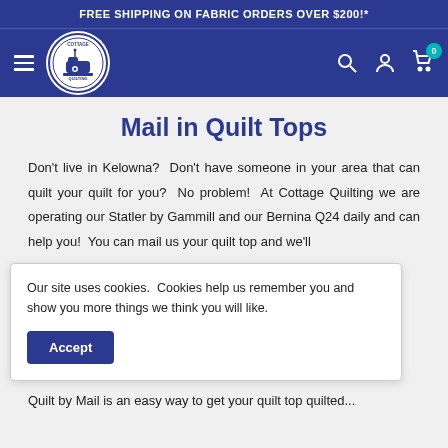FREE SHIPPING ON FABRIC ORDERS OVER $200!*
[Figure (logo): Cottage Quilting circular logo with sewing machine icon]
Mail in Quilt Tops
Don't live in Kelowna?  Don't have someone in your area that can quilt your quilt for you?  No problem!  At Cottage Quilting we are operating our Statler by Gammill and our Bernina Q24 daily and can help you!  You can mail us your quilt top and we'll
Our site uses cookies.  Cookies help us remember you and show you more things we think you will like.
Accept
Quilt by Mail is an easy way to get your quilt top quilted...